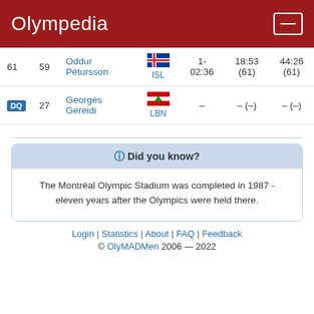Olympedia
| Rank | Bib | Athlete | Country | Time | Split 1 | Split 2 |
| --- | --- | --- | --- | --- | --- | --- |
| 61 | 59 | Oddur Pétursson | ISL | 1-02:36 | 18:53 (61) | 44:26 (61) |
| DQ | 27 | Georges Gereidi | LBN | – | – (–) | – (–) |
Did you know?
The Montréal Olympic Stadium was completed in 1987 - eleven years after the Olympics were held there.
Login | Statistics | About | FAQ | Feedback © OlyMADMen 2006 — 2022